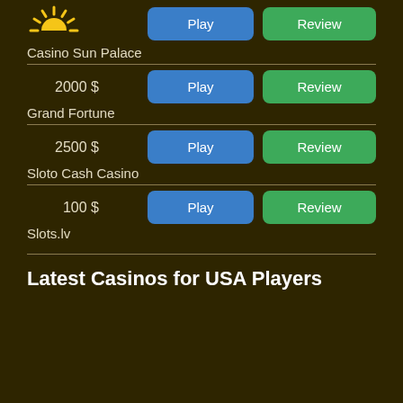[Figure (logo): Sunrise/sun logo icon for Casino Sun Palace]
Play
Review
Casino Sun Palace
2000 $
Play
Review
Grand Fortune
2500 $
Play
Review
Sloto Cash Casino
100 $
Play
Review
Slots.lv
Latest Casinos for USA Players